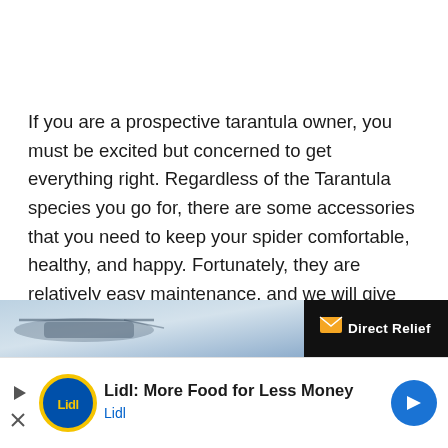If you are a prospective tarantula owner, you must be excited but concerned to get everything right. Regardless of the Tarantula species you go for, there are some accessories that you need to keep your spider comfortable, healthy, and happy. Fortunately, they are relatively easy maintenance, and we will give you details on their primary and secondary needs in this guide.
[Figure (infographic): Advertisement banner showing a helicopter image on the left and a Direct Relief logo on the right against a dark background]
[Figure (infographic): Lidl advertisement banner with Lidl circular logo, text 'Lidl: More Food for Less Money', 'Lidl' subtext in blue, and a blue navigation arrow on the right]